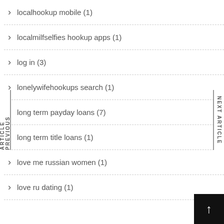localhookup mobile (1)
localmilfselfies hookup apps (1)
log in (3)
lonelywifehookups search (1)
long term payday loans (7)
long term title loans (1)
love me russian women (1)
love ru dating (1)